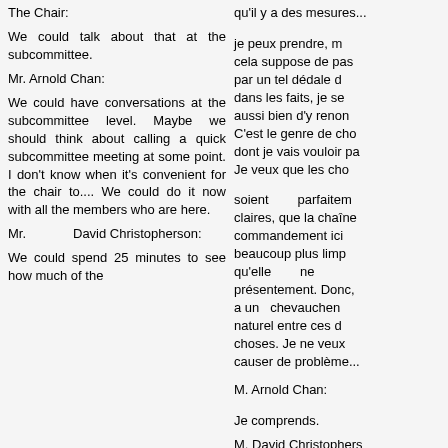qu'il y a des mesures...
The Chair:
je peux prendre, m cela suppose de pas par un tel dédale d dans les faits, je se aussi bien d'y renon C'est le genre de cho dont je vais vouloir pa Je veux que les cho
We could talk about that at the subcommittee.
Mr. Arnold Chan:
soient parfaitem claires, que la chaîne commandement ici beaucoup plus limp qu'elle ne présentement. Donc, a un chevauchen naturel entre ces d choses. Je ne veux causer de problème...
We could have conversations at the subcommittee level. Maybe we should think about calling a quick subcommittee meeting at some point. I don't know when it's convenient for the chair to.... We could do it now with all the members who are here.
M. Arnold Chan:
Je comprends.
M. David Christophers
Mr. David Christopherson:
... mais je ne vois pas tout comment on pou traiter les d séparément. Je crois vous comprenez Je
We could spend 25 minutes to see how much of the